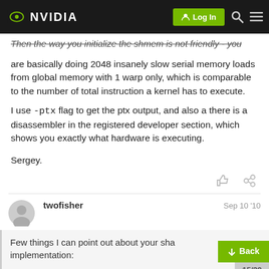NVIDIA (Log In)
Then the way you initialize the shmem is not friendly - you are basically doing 2048 insanely slow serial memory loads from global memory with 1 warp only, which is comparable to the number of total instruction a kernel has to execute.
I use -ptx flag to get the ptx output, and also a there is a disassembler in the registered developer section, which shows you exactly what hardware is executing.
Sergey.
twofisher   Sep 10 '10
Few things I can point out about your shared memory implementation:
15/29